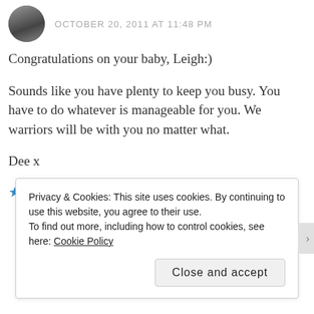OCTOBER 20, 2011 AT 11:48 PM
Congratulations on your baby, Leigh:)
Sounds like you have plenty to keep you busy. You have to do whatever is manageable for you. We warriors will be with you no matter what.
Dee x
★ Like
REPLY
Privacy & Cookies: This site uses cookies. By continuing to use this website, you agree to their use.
To find out more, including how to control cookies, see here: Cookie Policy
Close and accept